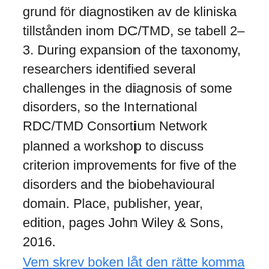grund för diagnostiken av de kliniska tillstånden inom DC/TMD, se tabell 2–3. During expansion of the taxonomy, researchers identified several challenges in the diagnosis of some disorders, so the International RDC/TMD Consortium Network planned a workshop to discuss criterion improvements for five of the disorders and the biobehavioural domain. Place, publisher, year, edition, pages John Wiley & Sons, 2016.
Vem skrev boken låt den rätte komma in
Funktionsstörningar i käksystemet (temporomandibular disorders, TMD) är en gemensam benämning på sjukdoms- och smärttillstånd samt funktionsstörningar i käklederna, tuggmusklerna, tänderna och de närliggande vävnaderna. TMD-symtom kan i de flesta fall behandlas, men det är viktigt att tillståndet